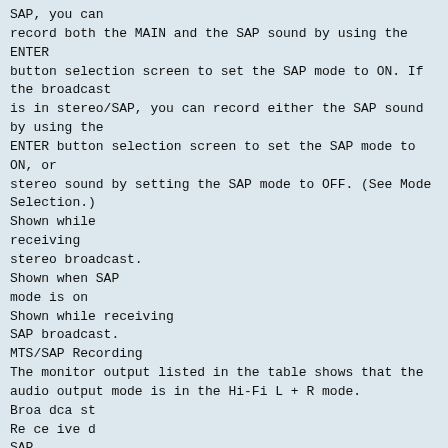SAP, you can
record both the MAIN and the SAP sound by using the ENTER
button selection screen to set the SAP mode to ON. If the broadcast
is in stereo/SAP, you can record either the SAP sound by using the
ENTER button selection screen to set the SAP mode to ON, or
stereo sound by setting the SAP mode to OFF. (See Mode
Selection.)
Shown while
receiving
stereo broadcast.
Shown when SAP
mode is on
Shown while receiving
SAP broadcast.
MTS/SAP Recording
The monitor output listed in the table shows that the
audio output mode is in the Hi-Fi L + R mode.
Broa dca st
Re ce ive d
SAP
Mode
Position
*Monitor Output
Recording
L. Spe a ke r  R. Spe a ke r  Hi-Fi L. CH
Hi-Fi R. CH  Line a r  Tra ck
OFF
L